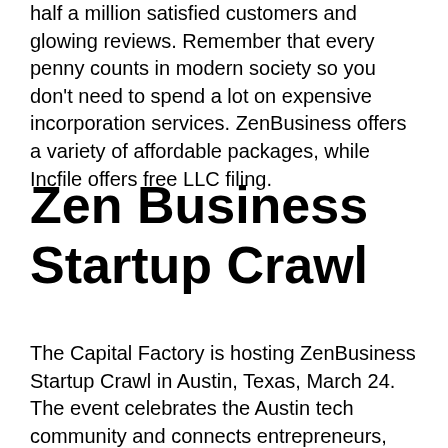half a million satisfied customers and glowing reviews. Remember that every penny counts in modern society so you don't need to spend a lot on expensive incorporation services. ZenBusiness offers a variety of affordable packages, while Incfile offers free LLC filing.
Zen Business Startup Crawl
The Capital Factory is hosting ZenBusiness Startup Crawl in Austin, Texas, March 24. The event celebrates the Austin tech community and connects entrepreneurs, investors, and startups with a space in the Capital Factory Austin Centre. The event will also feature a